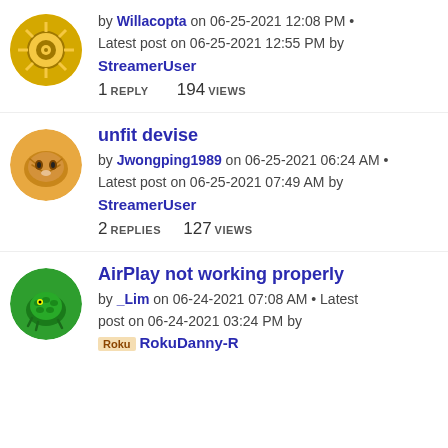by Willacopta on 06-25-2021 12:08 PM • Latest post on 06-25-2021 12:55 PM by StreamerUser — 1 REPLY 194 VIEWS
unfit devise — by Jwongping1989 on 06-25-2021 06:24 AM • Latest post on 06-25-2021 07:49 AM by StreamerUser — 2 REPLIES 127 VIEWS
AirPlay not working properly — by _Lim on 06-24-2021 07:08 AM • Latest post on 06-24-2021 03:24 PM by Roku RokuDanny-R